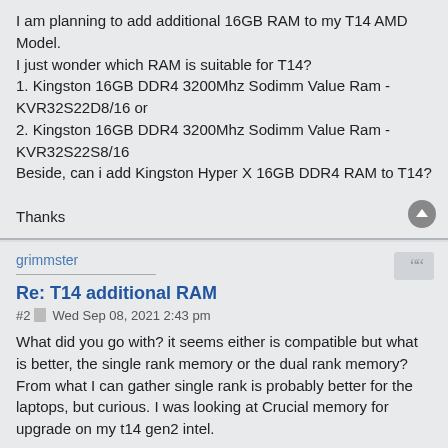I am planning to add additional 16GB RAM to my T14 AMD Model.
I just wonder which RAM is suitable for T14?
1. Kingston 16GB DDR4 3200Mhz Sodimm Value Ram - KVR32S22D8/16 or
2. Kingston 16GB DDR4 3200Mhz Sodimm Value Ram - KVR32S22S8/16
Beside, can i add Kingston Hyper X 16GB DDR4 RAM to T14?

Thanks
grimmster
Re: T14 additional RAM
#2   Wed Sep 08, 2021 2:43 pm
What did you go with? it seems either is compatible but what is better, the single rank memory or the dual rank memory? From what I can gather single rank is probably better for the laptops, but curious. I was looking at Crucial memory for upgrade on my t14 gen2 intel.